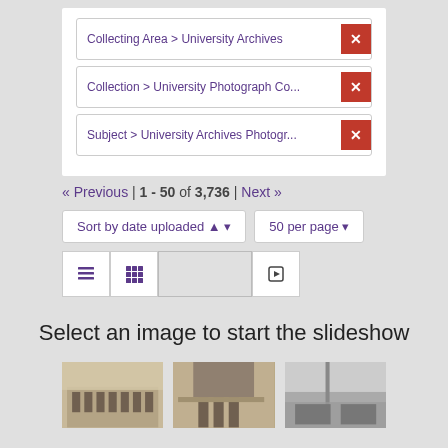Collecting Area > University Archives ×
Collection > University Photograph Co... ×
Subject > University Archives Photogr... ×
« Previous | 1 - 50 of 3,736 | Next »
Sort by date uploaded ▲ ▼
50 per page ▼
Select an image to start the slideshow
[Figure (photo): Three historical black and white / sepia photographs of university scenes showing groups of people in academic settings and a building exterior]